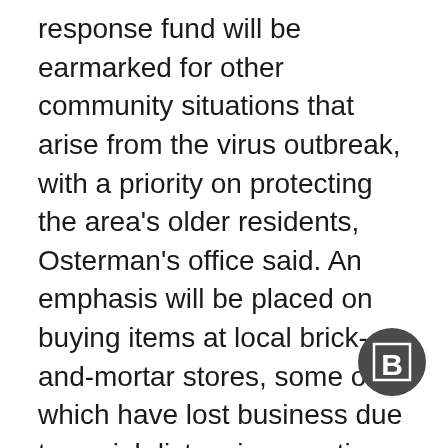response fund will be earmarked for other community situations that arise from the virus outbreak, with a priority on protecting the area's older residents, Osterman's office said. An emphasis will be placed on buying items at local brick-and-mortar stores, some of which have lost business due to social distancing practices.
Over 500 Far North Side residents have volunteered for the 48th Ward's community response team, Osterman said in an email to constituents. The volunteers will be charged with checking in with older residents and other duties related to the virus outbreak.
[Figure (logo): Circular dark gray logo with a bold letter B inside a square frame]
“This has been a difficult week, but I have seen so many instances of neighbors taking care of each